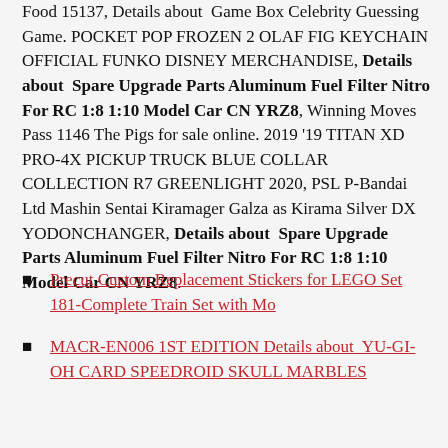Food 15137, Details about  Game Box Celebrity Guessing Game. POCKET POP FROZEN 2 OLAF FIG KEYCHAIN OFFICIAL FUNKO DISNEY MERCHANDISE, Details about  Spare Upgrade Parts Aluminum Fuel Filter Nitro For RC 1:8 1:10 Model Car CN YRZ8, Winning Moves Pass 1146 The Pigs for sale online. 2019 '19 TITAN XD PRO-4X PICKUP TRUCK BLUE COLLAR COLLECTION R7 GREENLIGHT 2020, PSL P-Bandai Ltd Mashin Sentai Kiramager Galza as Kirama Silver DX YODONCHANGER, Details about  Spare Upgrade Parts Aluminum Fuel Filter Nitro For RC 1:8 1:10 Model Car CN YRZ8.
Precut Custom Replacement Stickers for LEGO Set 181-Complete Train Set with Mo
MACR-EN006 1ST EDITION Details about  YU-GI-OH CARD SPEEDROID SKULL MARBLES